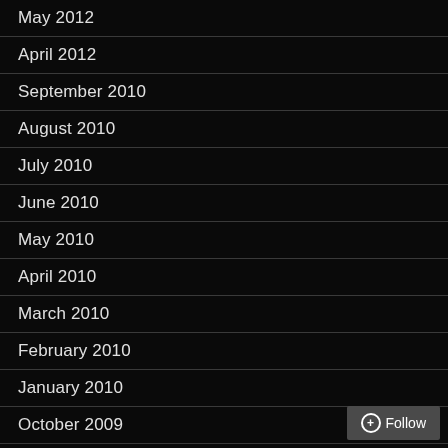May 2012
April 2012
September 2010
August 2010
July 2010
June 2010
May 2010
April 2010
March 2010
February 2010
January 2010
October 2009
September 2009